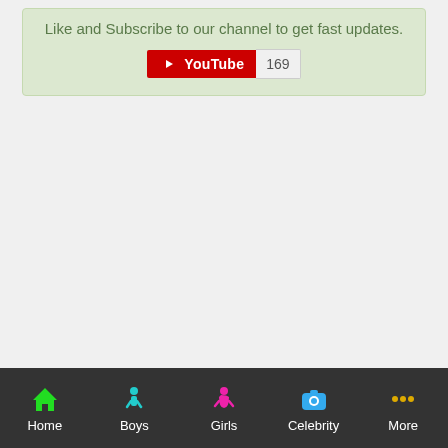Like and Subscribe to our channel to get fast updates.
[Figure (screenshot): YouTube subscribe button widget showing 169 subscribers]
Home | Boys | Girls | Celebrity | More